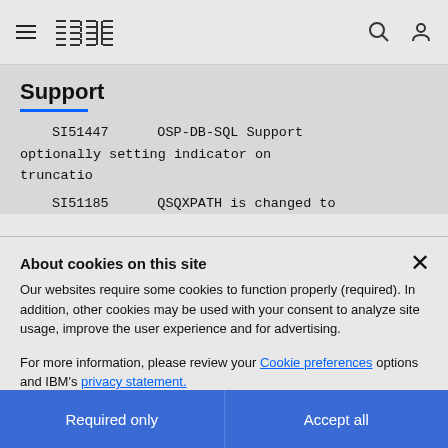IBM Support
Support
SI51447    OSP-DB-SQL Support optionally setting indicator on truncatio
SI51185    QSQXPATH is changed to
About cookies on this site
Our websites require some cookies to function properly (required). In addition, other cookies may be used with your consent to analyze site usage, improve the user experience and for advertising.
For more information, please review your Cookie preferences options and IBM's privacy statement.
Required only
Accept all